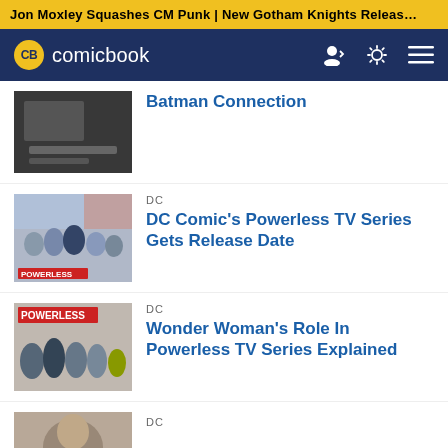Jon Moxley Squashes CM Punk | New Gotham Knights Releas…
[Figure (screenshot): ComicBook.com navigation bar with CB logo, user icon, brightness icon, and menu icon on dark blue background]
Batman Connection
DC
DC Comic's Powerless TV Series Gets Release Date
DC
Wonder Woman's Role In Powerless TV Series Explained
DC